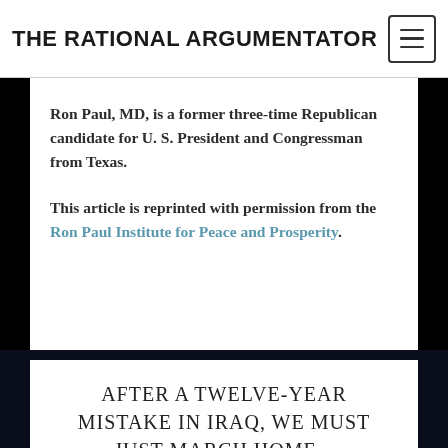THE RATIONAL ARGUMENTATOR
Ron Paul, MD, is a former three-time Republican candidate for U. S. President and Congressman from Texas.
This article is reprinted with permission from the Ron Paul Institute for Peace and Prosperity.
AFTER A TWELVE-YEAR MISTAKE IN IRAQ, WE MUST JUST MARCH HOME –